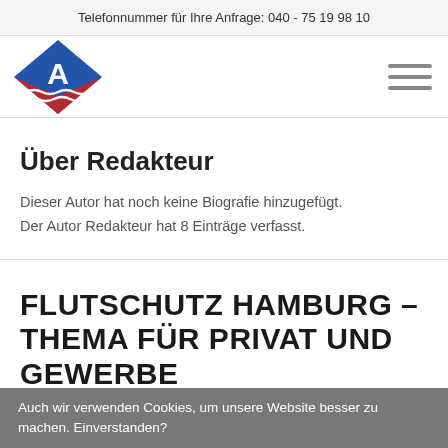Telefonnummer für Ihre Anfrage: 040 - 75 19 98 10
[Figure (logo): Diamond-shaped logo with white letter A and blue/red wave design, resembling a shipping/flood protection company logo]
Über Redakteur
Dieser Autor hat noch keine Biografie hinzugefügt.
Der Autor Redakteur hat 8 Einträge verfasst.
FLUTSCHUTZ HAMBURG – THEMA FÜR PRIVAT UND GEWERBE
Auch wir verwenden Cookies, um unsere Website besser zu machen. Einverstanden?